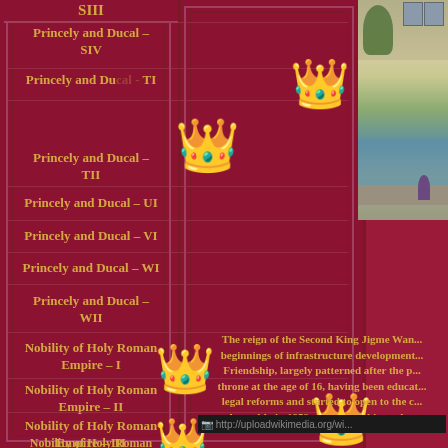SIII
Princely and Ducal - SIV
Princely and Ducal - TI
Princely and Ducal - TII
Princely and Ducal - UI
Princely and Ducal - VI
Princely and Ducal - WI
Princely and Ducal - WII
Nobility of Holy Roman Empire - I
Nobility of Holy Roman Empire - II
Nobility of Holy Roman Empire - III
Nobility of Holy Roman Empire - IV
[Figure (photo): Outdoor scene with trees, a building with windows, and a body of water with stone edging]
The reign of the Second King Jigme Wan... beginnings of infrastructure development... Friendship, largely patterned after the p... throne at the age of 16, having been educat... legal reforms and started to open to the c... Assembly in 1953 and establishing rela...
[Figure (other): Broken image placeholder: http://uploadwikimedia.org/wi...]